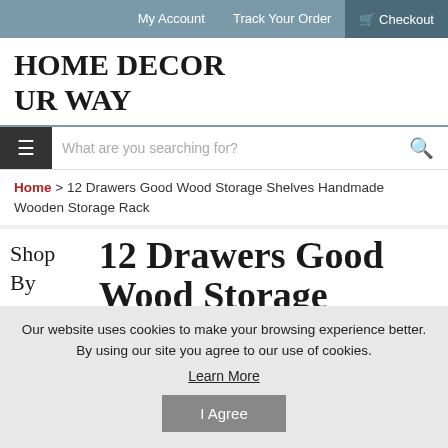My Account | Track Your Order | Checkout
HOME DECOR UR WAY
What are you searching for?
Home > 12 Drawers Good Wood Storage Shelves Handmade Wooden Storage Rack
12 Drawers Good Wood Storage Shelves Handmade Wooden
Shop By Category
Our website uses cookies to make your browsing experience better. By using our site you agree to our use of cookies.
Learn More
I Agree